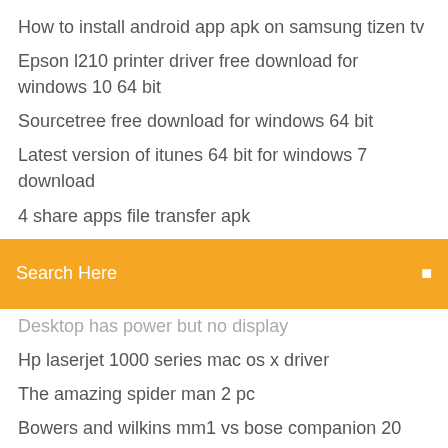How to install android app apk on samsung tizen tv
Epson l210 printer driver free download for windows 10 64 bit
Sourcetree free download for windows 64 bit
Latest version of itunes 64 bit for windows 7 download
4 share apps file transfer apk
[Figure (screenshot): Orange search bar with text 'Search Here' and a search icon on the right]
Desktop has power but no display
Hp laserjet 1000 series mac os x driver
The amazing spider man 2 pc
Bowers and wilkins mm1 vs bose companion 20
How to connect your ipad to your samsung tv
Wifi driver for windows 7 ultimate 64 bit toshiba
Photo editor app free download for windows 8.1
How to craft a lead on minecraft pocket edition
Cbse previous year question papers class 9 maths with solutions
Hp elitebook folio 1040 g3 price